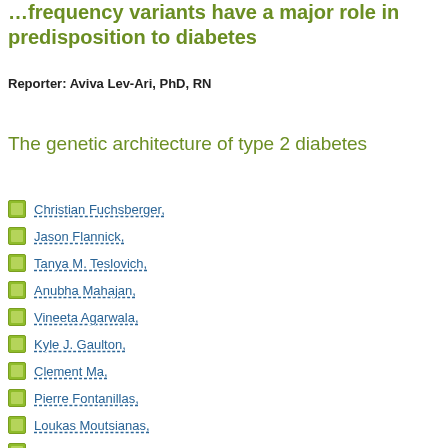...frequency variants have a major role in predisposition to diabetes
Reporter: Aviva Lev-Ari, PhD, RN
The genetic architecture of type 2 diabetes
Christian Fuchsberger,
Jason Flannick,
Tanya M. Teslovich,
Anubha Mahajan,
Vineeta Agarwala,
Kyle J. Gaulton,
Clement Ma,
Pierre Fontanillas,
Loukas Moutsianas,
Davis J. McCarthy,
Manuel A. Rivas,
John R. B. Perry,
Xueling Sim,
Thomas W. Blackwell,
Neil R. Robertson,
N. William Rayner,
Pablo Cingolani,